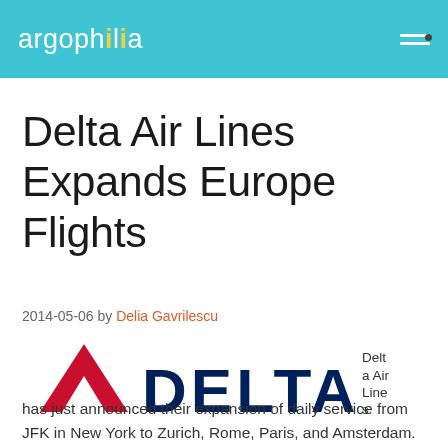argophilia
Delta Air Lines Expands Europe Flights
2014-05-06 by Delia Gavrilescu
[Figure (logo): Delta Air Lines logo with red triangle widget and DELTA wordmark in dark navy blue]
Delta Air Lines has just announced their expansion of daily service from JFK in New York to Zurich, Rome, Paris, and Amsterdam.